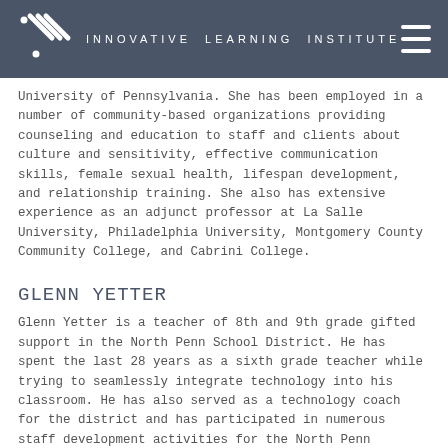INNOVATIVE LEARNING INSTITUTE
University of Pennsylvania. She has been employed in a number of community-based organizations providing counseling and education to staff and clients about culture and sensitivity, effective communication skills, female sexual health, lifespan development, and relationship training. She also has extensive experience as an adjunct professor at La Salle University, Philadelphia University, Montgomery County Community College, and Cabrini College.
GLENN YETTER
Glenn Yetter is a teacher of 8th and 9th grade gifted support in the North Penn School District. He has spent the last 28 years as a sixth grade teacher while trying to seamlessly integrate technology into his classroom. He has also served as a technology coach for the district and has participated in numerous staff development activities for the North Penn faculty. Glenn is a huge advocate of the student-led conference and has consulted with